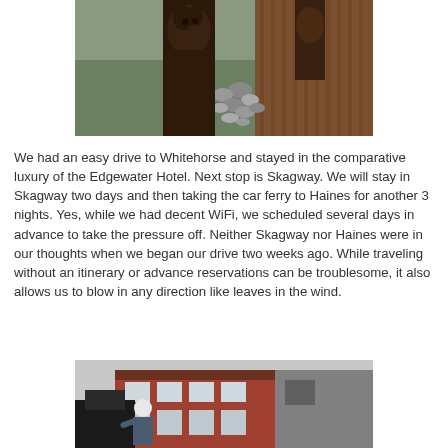[Figure (photo): A wooden carved bear sculpture in the foreground with rocks and a wooden boardwalk in the background]
We had an easy drive to Whitehorse and stayed in the comparative luxury of the Edgewater Hotel. Next stop is Skagway. We will stay in Skagway two days and then taking the car ferry to Haines for another 3 nights. Yes, while we had decent WiFi, we scheduled several days in advance to take the pressure off. Neither Skagway nor Haines were in our thoughts when we began our drive two weeks ago. While traveling without an itinerary or advance reservations can be troublesome, it also allows us to blow in any direction like leaves in the wind.
[Figure (photo): A person with white hair standing near a dark object in front of a historic-looking building with a red brick facade in what appears to be Skagway, Alaska]